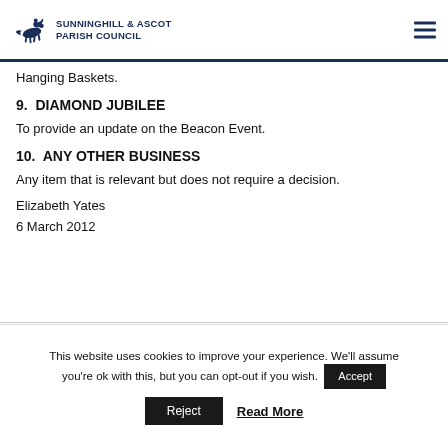Sunninghill & Ascot Parish Council
Hanging Baskets.
9.  DIAMOND JUBILEE
To provide an update on the Beacon Event.
10.  ANY OTHER BUSINESS
Any item that is relevant but does not require a decision.
Elizabeth Yates
6 March 2012
This website uses cookies to improve your experience. We'll assume you're ok with this, but you can opt-out if you wish.  Accept  Reject  Read More